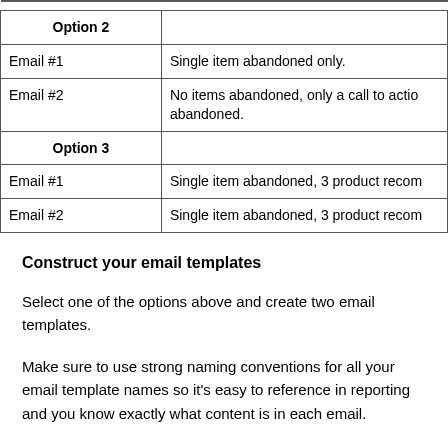|  |  |
| --- | --- |
| Option 2 |  |
| Email #1 | Single item abandoned only. |
| Email #2 | No items abandoned, only a call to action abandoned. |
| Option 3 |  |
| Email #1 | Single item abandoned, 3 product recom... |
| Email #2 | Single item abandoned, 3 product recom... |
Construct your email templates
Select one of the options above and create two email templates.
Make sure to use strong naming conventions for all your email template names so it's easy to reference in reporting and you know exactly what content is in each email.